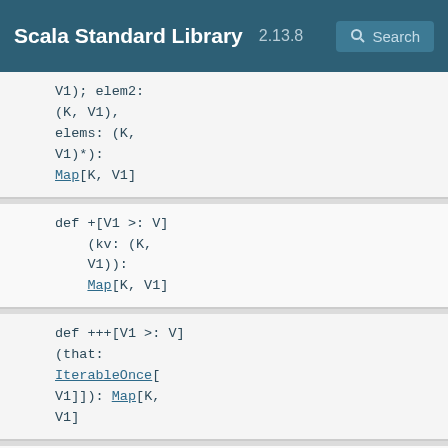Scala Standard Library 2.13.8
V1); elem2: (K, V1), elems: (K, V1)*): Map[K, V1]
def +[V1 >: V](kv: (K, V1)): Map[K, V1]
def ++[V1 >: V](that: IterableOnce[V1]]): Map[K, V1]
def ++[B >: (K, (that: IterableOnce[Iterable[B]
def --(keys: IterableOnce[Map[K, V]